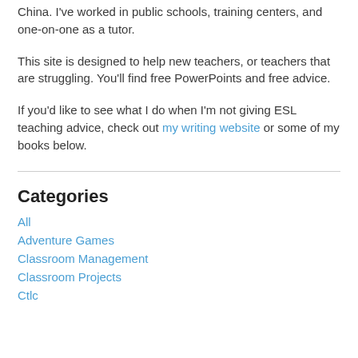China. I've worked in public schools, training centers, and one-on-one as a tutor.
This site is designed to help new teachers, or teachers that are struggling. You'll find free PowerPoints and free advice.
If you'd like to see what I do when I'm not giving ESL teaching advice, check out my writing website or some of my books below.
Categories
All
Adventure Games
Classroom Management
Classroom Projects
Ctlc